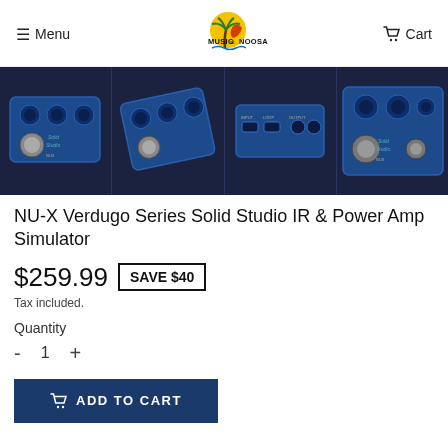≡ Menu | Music at Noosa | Cart
[Figure (photo): Four product photos of the NU-X Verdugo Series Solid Studio pedal from different angles, shown against a dark background]
NU-X Verdugo Series Solid Studio IR & Power Amp Simulator
$259.99   SAVE $40
Tax included.
Quantity
- 1 +
ADD TO CART